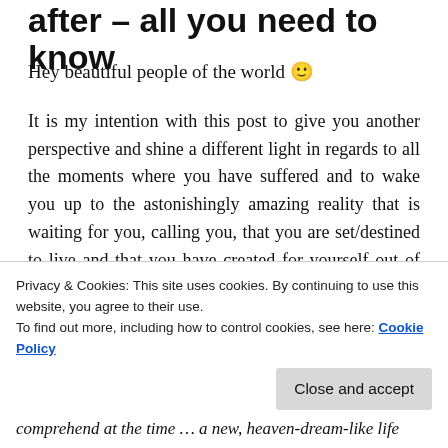after – all you need to know
Hey beautiful people of the world 🙂
It is my intention with this post to give you another perspective and shine a different light in regards to all the moments where you have suffered and to wake you up to the astonishingly amazing reality that is waiting for you, calling you, that you are set/destined to live and that you have created for yourself out of your most painful moments.
Privacy & Cookies: This site uses cookies. By continuing to use this website, you agree to their use.
To find out more, including how to control cookies, see here: Cookie Policy
comprehend at the time … a new, heaven-dream-like life